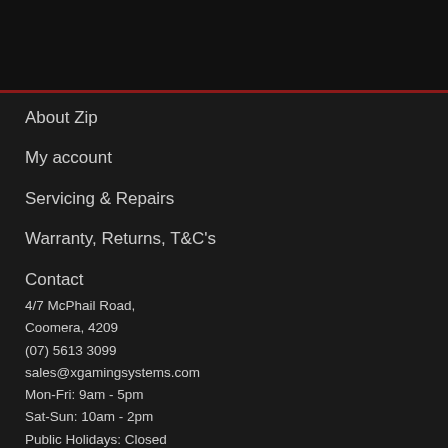About Zip
My account
Servicing & Repairs
Warranty, Returns, T&C's
Contact
4/7 McPhail Road,
Coomera, 4209
(07) 5613 3099
sales@xgamingsystems.com
Mon-Fri: 9am - 5pm
Sat-Sun: 10am - 2pm
Public Holidays: Closed